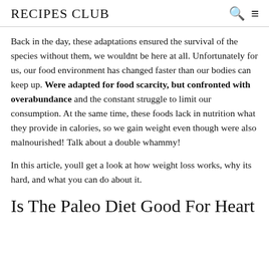RECIPES CLUB
Back in the day, these adaptations ensured the survival of the species without them, we wouldnt be here at all. Unfortunately for us, our food environment has changed faster than our bodies can keep up. Were adapted for food scarcity, but confronted with overabundance and the constant struggle to limit our consumption. At the same time, these foods lack in nutrition what they provide in calories, so we gain weight even though were also malnourished! Talk about a double whammy!
In this article, youll get a look at how weight loss works, why its hard, and what you can do about it.
Is The Paleo Diet Good For Heart